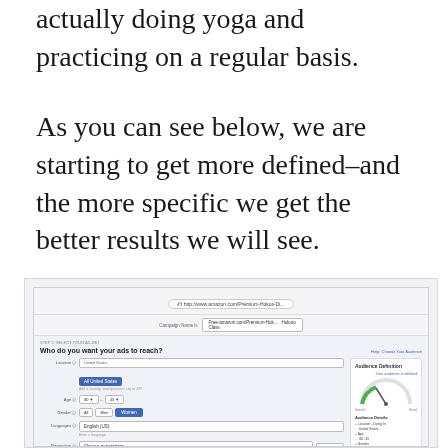actually doing yoga and practicing on a regular basis.
As you can see below, we are starting to get more defined–and the more specific we get the better results we will see.
[Figure (screenshot): Facebook Ads audience targeting interface screenshot showing audience definition panel with location set to United States, age 30-45, gender Female, language English (US), interests including Anusara Yoga, and Audience Definition sidebar showing gauge and details. Potential Reach shown as 10,000 people.]